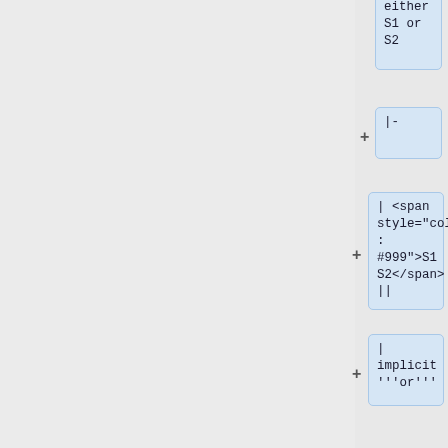either S1 or S2
|-
| <span style="color: #999">S1 S2</span> ||
| implicit '''or'''
|-
| <span style="color: #999">S1</span> and (<span style="color: #999">...